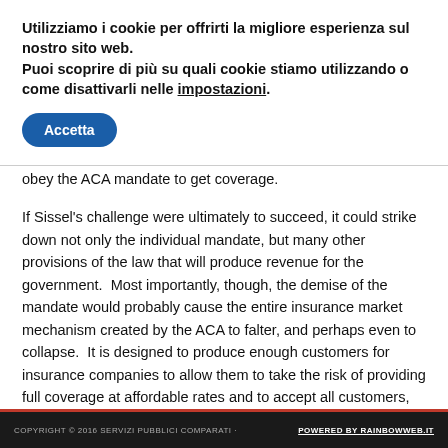Utilizziamo i cookie per offrirti la migliore esperienza sul nostro sito web. Puoi scoprire di più su quali cookie stiamo utilizzando o come disattivarli nelle impostazioni.
Accetta
obey the ACA mandate to get coverage.
If Sissel's challenge were ultimately to succeed, it could strike down not only the individual mandate, but many other provisions of the law that will produce revenue for the government.  Most importantly, though, the demise of the mandate would probably cause the entire insurance market mechanism created by the ACA to falter, and perhaps even to collapse.  It is designed to produce enough customers for insurance companies to allow them to take the risk of providing full coverage at affordable rates and to accept all customers, no matter how sick they are or have been.
COPYRIGHT © 2016 SERVIZI PUBBLICI COMPARATI · POWERED BY RAINBOWWEB.IT